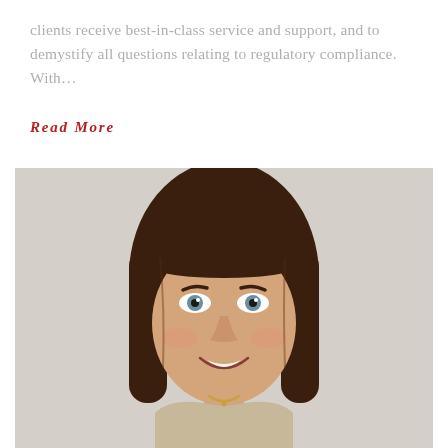clients receive best-in-class service and support, and to demystify all questions relating to regulatory compliance. With...
Read More
[Figure (photo): Headshot portrait of a smiling woman with long straight brown hair and bangs, blue eyes, wearing a light-colored top and gold necklace, against a neutral beige/grey background.]